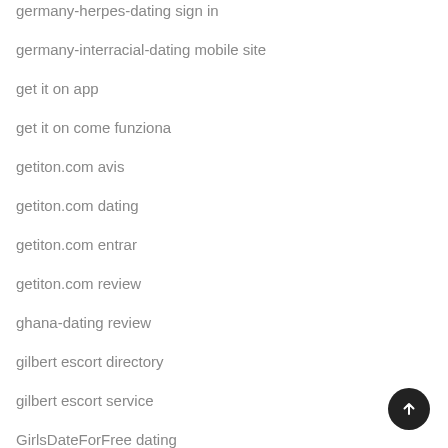germany-herpes-dating sign in
germany-interracial-dating mobile site
get it on app
get it on come funziona
getiton.com avis
getiton.com dating
getiton.com entrar
getiton.com review
ghana-dating review
gilbert escort directory
gilbert escort service
GirlsDateForFree dating
gleeden login